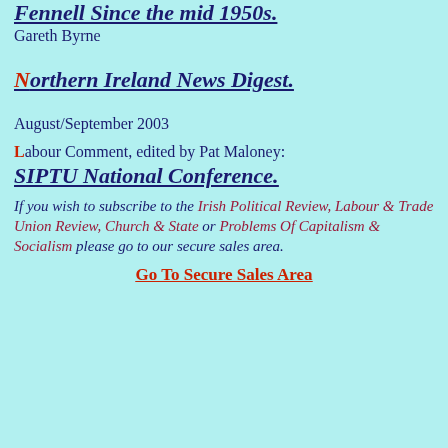Fennell Since the mid 1950s.
Gareth Byrne
Northern Ireland News Digest.
August/September 2003
Labour Comment, edited by Pat Maloney:
SIPTU National Conference.
If you wish to subscribe to the Irish Political Review, Labour & Trade Union Review, Church & State or Problems Of Capitalism & Socialism please go to our secure sales area.
Go To Secure Sales Area